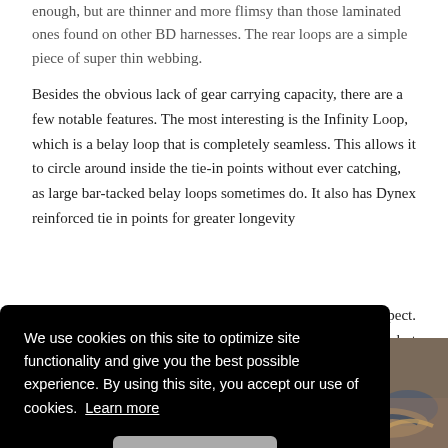enough, but are thinner and more flimsy than those laminated ones found on other BD harnesses. The rear loops are a simple piece of super thin webbing.
Besides the obvious lack of gear carrying capacity, there are a few notable features. The most interesting is the Infinity Loop, which is a belay loop that is completely seamless. This allows it to circle around inside the tie-in points without ever catching, as large bar-tacked belay loops sometimes do. It also has Dynex reinforced tie in points for greater longevity …expect. …ed, but …s.
[Figure (photo): Partial photo visible in bottom-right corner showing climbing harness detail with ropes/gear]
We use cookies on this site to optimize site functionality and give you the best possible experience. By using this site, you accept our use of cookies. Learn more